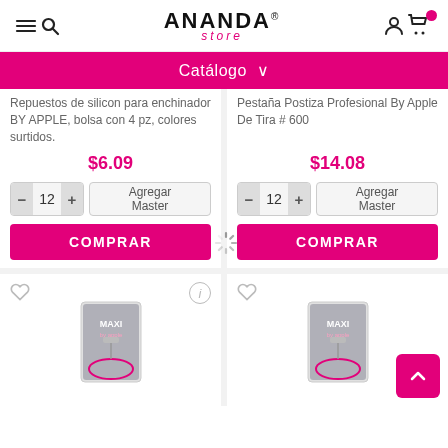ANANDA store — navigation header with menu, search, account, cart icons
Catálogo ∨
Repuestos de silicon para enchinador BY APPLE, bolsa con 4 pz, colores surtidos.
$6.09
Pestaña Postiza Profesional By Apple De Tira # 600
$14.08
[Figure (screenshot): Two product cards each with quantity selector (12) and Agregar Master button and COMPRAR button; a loading spinner visible in center]
[Figure (photo): Two MAXI by Apple eyelash curler product photos in bottom row with heart and info icons]